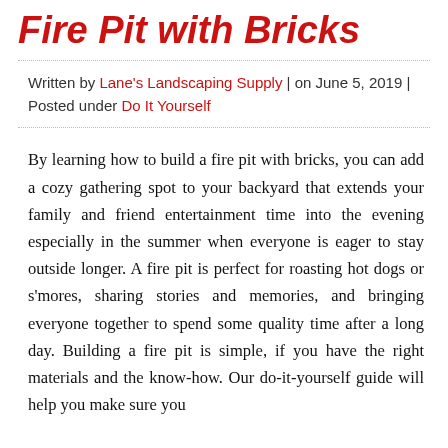Fire Pit with Bricks
Written by Lane's Landscaping Supply | on June 5, 2019 | Posted under Do It Yourself
By learning how to build a fire pit with bricks, you can add a cozy gathering spot to your backyard that extends your family and friend entertainment time into the evening especially in the summer when everyone is eager to stay outside longer. A fire pit is perfect for roasting hot dogs or s'mores, sharing stories and memories, and bringing everyone together to spend some quality time after a long day. Building a fire pit is simple, if you have the right materials and the know-how. Our do-it-yourself guide will help you make sure you